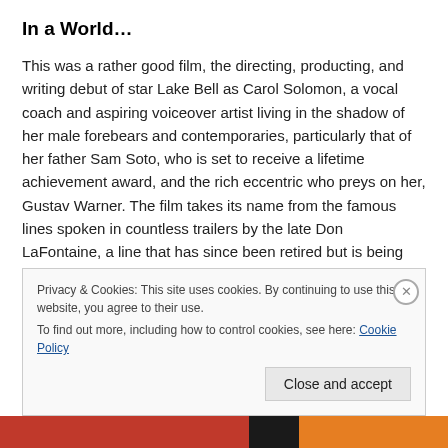In a World…
This was a rather good film, the directing, producting, and writing debut of star Lake Bell as Carol Solomon, a vocal coach and aspiring voiceover artist living in the shadow of her male forebears and contemporaries, particularly that of her father Sam Soto, who is set to receive a lifetime achievement award, and the rich eccentric who preys on her, Gustav Warner. The film takes its name from the famous lines spoken in countless trailers by the late Don LaFontaine, a line that has since been retired but is being
Privacy & Cookies: This site uses cookies. By continuing to use this website, you agree to their use.
To find out more, including how to control cookies, see here: Cookie Policy